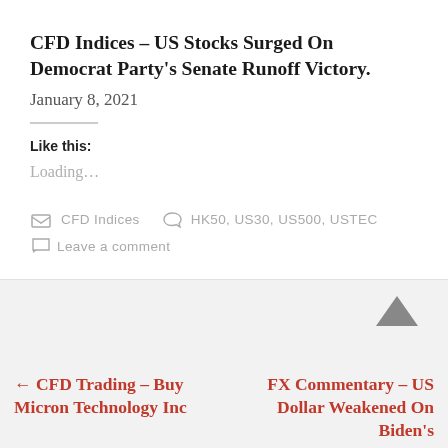CFD Indices – US Stocks Surged On Democrat Party's Senate Runoff Victory.
January 8, 2021
Like this:
Loading…
CFD Indices   HK50, US30, US500, USTEC   Leave a comment
← CFD Trading – Buy Micron Technology Inc
FX Commentary – US Dollar Weakened On Biden's